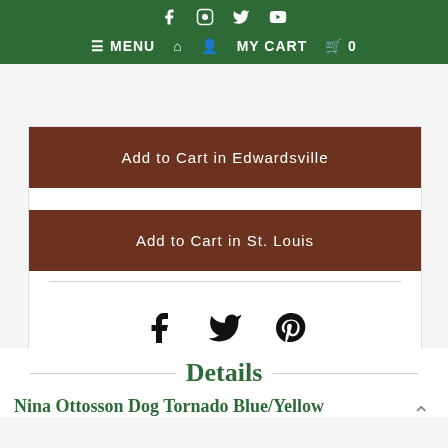MENU  MY CART  0
Add to Cart in Edwardsville
Add to Cart in St. Louis
[Figure (illustration): Social share icons: Facebook, Twitter, Pinterest]
Curbside Pickup | Our Locations | Contact us
Details
Nina Ottosson Dog Tornado Blue/Yellow